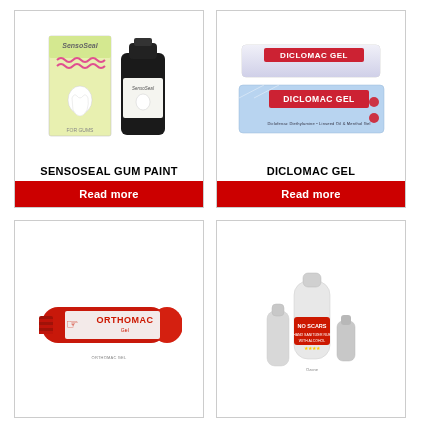[Figure (photo): SensoSeal Gum Paint product photo showing a yellow box and a dark bottle]
SENSOSEAL GUM PAINT
Read more
[Figure (photo): Diclomac Gel product photo showing a tube and box of gel]
DICLOMAC GEL
Read more
[Figure (photo): Orthomac Gel product photo showing a red and white tube]
[Figure (photo): No Scars Hand Sanitizer Rub with Alcohol product photo showing bottles]